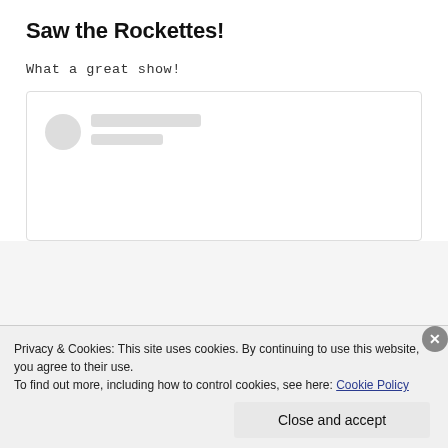Saw the Rockettes!
What a great show!
[Figure (screenshot): Embedded social media post placeholder with circular avatar and two grey loading bars]
Privacy & Cookies: This site uses cookies. By continuing to use this website, you agree to their use.
To find out more, including how to control cookies, see here: Cookie Policy
Close and accept